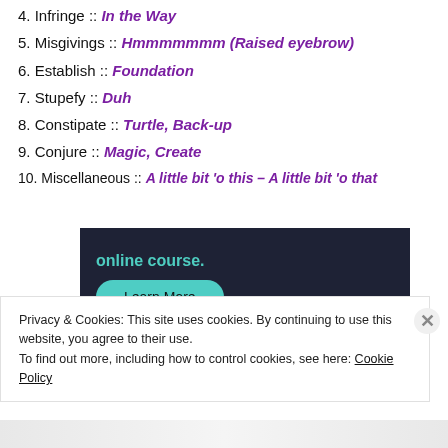4. Infringe :: In the Way
5. Misgivings :: Hmmmmmmm (Raised eyebrow)
6. Establish :: Foundation
7. Stupefy :: Duh
8. Constipate :: Turtle, Back-up
9. Conjure :: Magic, Create
10. Miscellaneous :: A little bit 'o this – A little bit 'o that
[Figure (screenshot): Dark banner with teal text 'online course.' and a teal 'Learn More' button]
Privacy & Cookies: This site uses cookies. By continuing to use this website, you agree to their use. To find out more, including how to control cookies, see here: Cookie Policy
Close and accept